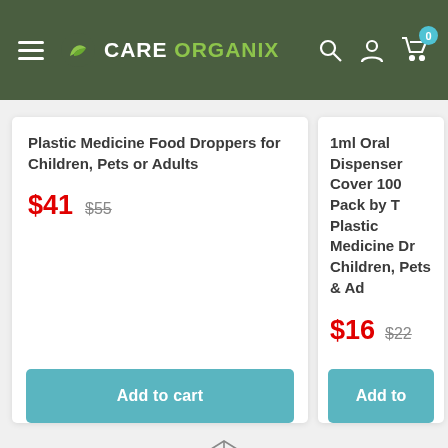CARE ORGANIX
Plastic Medicine Food Droppers for Children, Pets or Adults
$41  $55
Add to cart
1ml Oral Dispenser Cover 100 Pack by T Plastic Medicine Dr Children, Pets & Ad
$16  $22
Add to
[Figure (illustration): Box/package icon at bottom center of page]